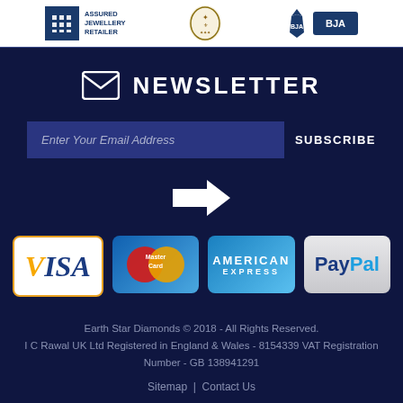[Figure (logo): Top bar with three logos: Assured Jewellery Retailer, a coat of arms crest, and BJA logo]
NEWSLETTER
[Figure (infographic): Newsletter subscription section with email input field, SUBSCRIBE button, and arrow icon]
[Figure (infographic): Payment method logos: Visa, MasterCard, American Express, PayPal]
Earth Star Diamonds © 2018 - All Rights Reserved. I C Rawal UK Ltd Registered in England & Wales - 8154339 VAT Registration Number - GB 138941291
Sitemap | Contact Us